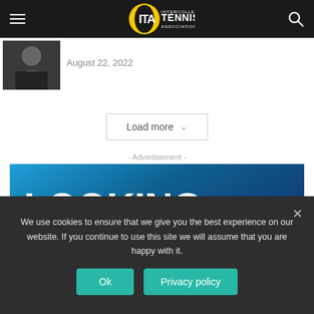ITA Intercollegiate Tennis Association
[Figure (photo): Person in dark clothing, headshot photo]
August 22, 2022
Load more
- Advertisement -
[Figure (infographic): Job advertisement banner with blue gradient background reading LOOKING FOR A JOB IN COLLEGE TENNIS in white and gold bold text]
We use cookies to ensure that we give you the best experience on our website. If you continue to use this site we will assume that you are happy with it.
Ok
Privacy policy